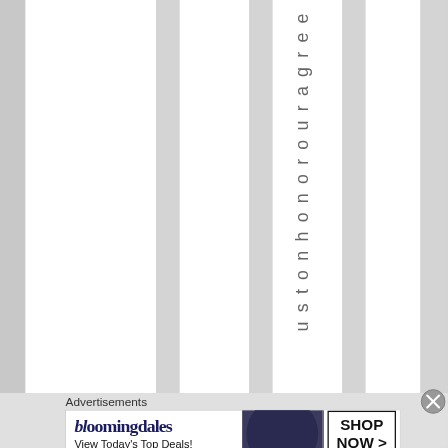[Figure (illustration): Striped background with alternating white and gray vertical columns. Vertical text reading 'ustonhonorouragree' spelled out character by character going downward.]
ustonhonorouragree
Advertisements
[Figure (screenshot): Bloomingdale's advertisement banner with logo, tagline 'View Today's Top Deals!', model with large hat, and 'SHOP NOW >' button box.]